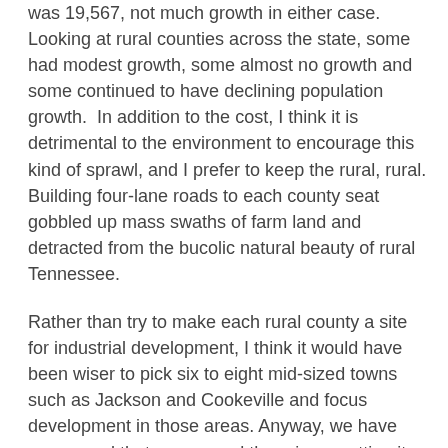was 19,567, not much growth in either case. Looking at rural counties across the state, some had modest growth, some almost no growth and some continued to have declining population growth.  In addition to the cost, I think it is detrimental to the environment to encourage this kind of sprawl, and I prefer to keep the rural, rural. Building four-lane roads to each county seat gobbled up mass swaths of farm land and detracted from the bucolic natural beauty of rural Tennessee.
Rather than try to make each rural county a site for industrial development, I think it would have been wiser to pick six to eight mid-sized towns such as Jackson and Cookeville and focus development in those areas. Anyway, we have now spend that money and there is no getting it back.
The lesson form this is that if an entity of government has money to spend, they spend it even if they spend it foolishly. The only way government spends wisely is when money is scarce and even then not all of the time.  It is a policy quandary; do you give an entity more money and see a lot of it foolishly wasted or not give insufficient money and see